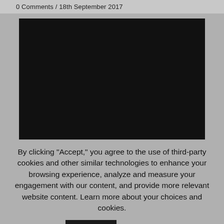0 Comments / 18th September 2017
[Figure (photo): Dark/black image area, likely a video thumbnail or embedded media placeholder]
By clicking "Accept," you agree to the use of third-party cookies and other similar technologies to enhance your browsing experience, analyze and measure your engagement with our content, and provide more relevant website content. Learn more about your choices and cookies.
Accept  Read More